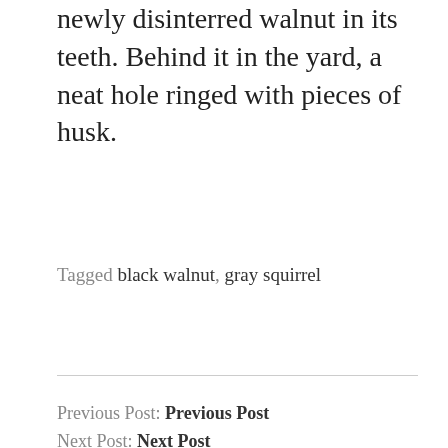newly disinterred walnut in its teeth. Behind it in the yard, a neat hole ringed with pieces of husk.
Tagged black walnut, gray squirrel
Previous Post: Previous Post
Next Post: Next Post
Search
On this date